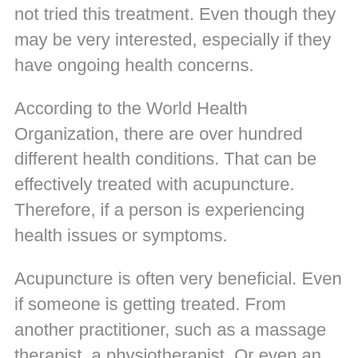not tried this treatment. Even though they may be very interested, especially if they have ongoing health concerns.
According to the World Health Organization, there are over hundred different health conditions. That can be effectively treated with acupuncture. Therefore, if a person is experiencing health issues or symptoms.
Acupuncture is often very beneficial. Even if someone is getting treated. From another practitioner, such as a massage therapist, a physiotherapist. Or even an osteopath, acupuncture is a modality.
That works hand-in-hand with many other treatments. They should just mention to their other practitioner. That they are contemplating acupuncture. So that they can schedule their appointments around each other. Such as having a